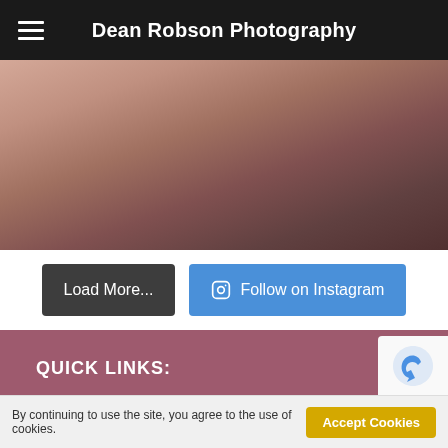Dean Robson Photography
[Figure (photo): Close-up photograph with pink/brown tones, partially visible at top of page]
Load More...
Follow on Instagram
QUICK LINKS:
Home
Blog
By continuing to use the site, you agree to the use of cookies.
Accept Cookies